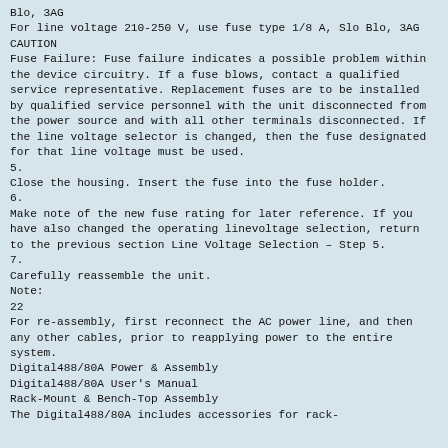Blo, 3AG
For line voltage 210-250 V, use fuse type 1/8 A, Slo Blo, 3AG
CAUTION
Fuse Failure: Fuse failure indicates a possible problem within the device circuitry. If a fuse blows, contact a qualified service representative. Replacement fuses are to be installed by qualified service personnel with the unit disconnected from the power source and with all other terminals disconnected. If the line voltage selector is changed, then the fuse designated for that line voltage must be used.
5.
Close the housing. Insert the fuse into the fuse holder.
6.
Make note of the new fuse rating for later reference. If you have also changed the operating linevoltage selection, return to the previous section Line Voltage Selection – Step 5.
7.
Carefully reassemble the unit.
Note:
22
For re-assembly, first reconnect the AC power line, and then any other cables, prior to reapplying power to the entire system.
Digital488/80A Power & Assembly
Digital488/80A User's Manual
Rack-Mount & Bench-Top Assembly
The Digital488/80A includes accessories for rack-